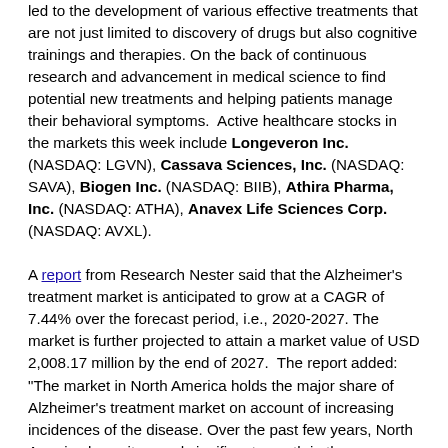led to the development of various effective treatments that are not just limited to discovery of drugs but also cognitive trainings and therapies. On the back of continuous research and advancement in medical science to find potential new treatments and helping patients manage their behavioral symptoms.  Active healthcare stocks in the markets this week include Longeveron Inc. (NASDAQ: LGVN), Cassava Sciences, Inc. (NASDAQ: SAVA), Biogen Inc. (NASDAQ: BIIB), Athira Pharma, Inc. (NASDAQ: ATHA), Anavex Life Sciences Corp. (NASDAQ: AVXL).
A report from Research Nester said that the Alzheimer's treatment market is anticipated to grow at a CAGR of 7.44% over the forecast period, i.e., 2020-2027. The market is further projected to attain a market value of USD 2,008.17 million by the end of 2027.  The report added: "The market in North America holds the major share of Alzheimer's treatment market on account of increasing incidences of the disease. Over the past few years, North America has witnessed significant growth in the Alzheimer's treatment market. With the presence of many key players in the region, the North America Alzheimer's treatment market is further predicted to expand rapidly on the back of increasing technological advancements in the field. The market in Europe is estimated to hold a vast potential for the development of the Alzheimer's treatment market primarily influenced by its increasing geriatric population, which is contributing significantly to the occurrence of the disease.